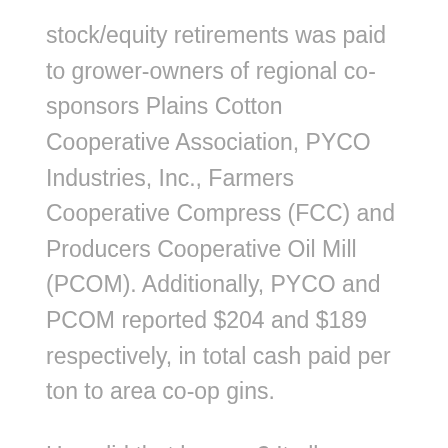stock/equity retirements was paid to grower-owners of regional co-sponsors Plains Cotton Cooperative Association, PYCO Industries, Inc., Farmers Cooperative Compress (FCC) and Producers Cooperative Oil Mill (PCOM). Additionally, PYCO and PCOM reported $204 and $189 respectively, in total cash paid per ton to area co-op gins.
How did that happen? It all goes